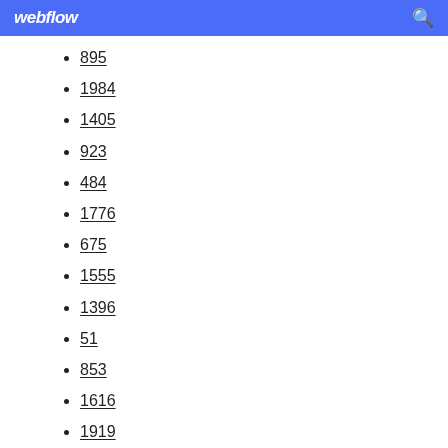webflow
895
1984
1405
923
484
1776
675
1555
1396
51
853
1616
1919